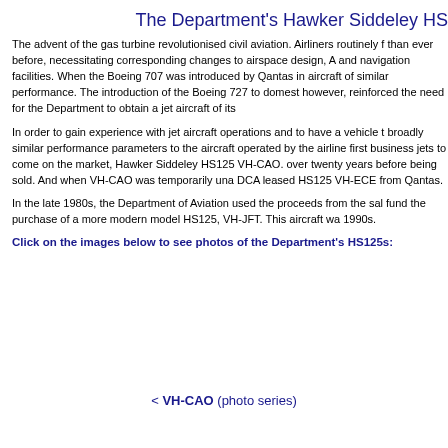The Department's Hawker Siddeley HS
The advent of the gas turbine revolutionised civil aviation. Airliners routinely f than ever before, necessitating corresponding changes to airspace design, A and navigation facilities. When the Boeing 707 was introduced by Qantas in aircraft of similar performance. The introduction of the Boeing 727 to domest however, reinforced the need for the Department to obtain a jet aircraft of its
In order to gain experience with jet aircraft operations and to have a vehicle t broadly similar performance parameters to the aircraft operated by the airline first business jets to come on the market, Hawker Siddeley HS125 VH-CAO. over twenty years before being sold. And when VH-CAO was temporarily una DCA leased HS125 VH-ECE from Qantas.
In the late 1980s, the Department of Aviation used the proceeds from the sal fund the purchase of a more modern model HS125, VH-JFT. This aircraft wa 1990s.
Click on the images below to see photos of the Department's HS125s:
< VH-CAO (photo series)